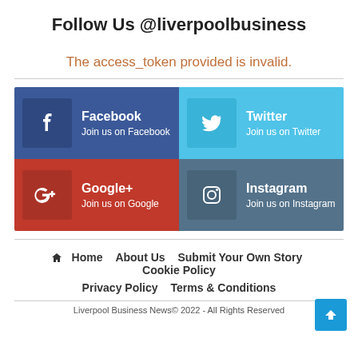Follow Us @liverpoolbusiness
The access_token provided is invalid.
[Figure (infographic): Social media follow links grid: Facebook (Join us on Facebook), Twitter (Join us on Twitter), Google+ (Join us on Google), Instagram (Join us on Instagram)]
Home  About Us  Submit Your Own Story  Cookie Policy
Privacy Policy  Terms & Conditions
Liverpool Business News© 2022 - All Rights Reserved